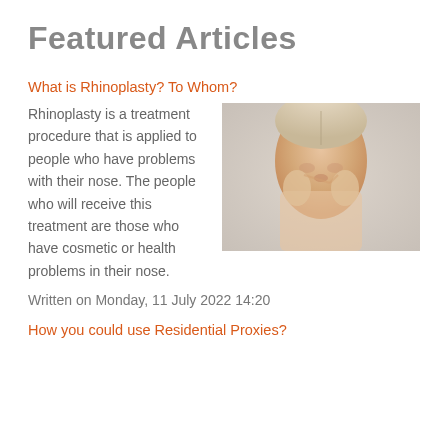Featured Articles
What is Rhinoplasty? To Whom?
[Figure (photo): A woman with blonde hair touching the sides of her nose with both hands, against a light gray background.]
Rhinoplasty is a treatment procedure that is applied to people who have problems with their nose. The people who will receive this treatment are those who have cosmetic or health problems in their nose.
Written on Monday, 11 July 2022 14:20
How you could use Residential Proxies?